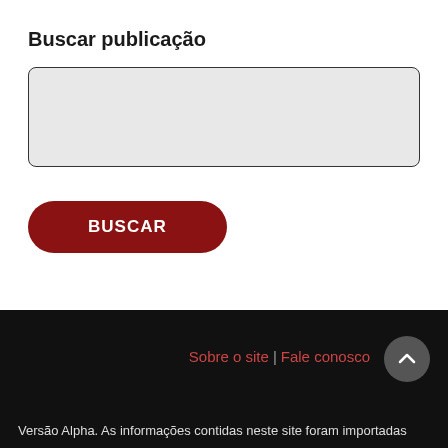Buscar publicação
[Figure (screenshot): Search input box — a large light gray rectangle with rounded corners and a dark border]
[Figure (screenshot): Red rounded BUSCAR button]
Sobre o site | Fale conosco
Versão Alpha. As informações contidas neste site foram importadas